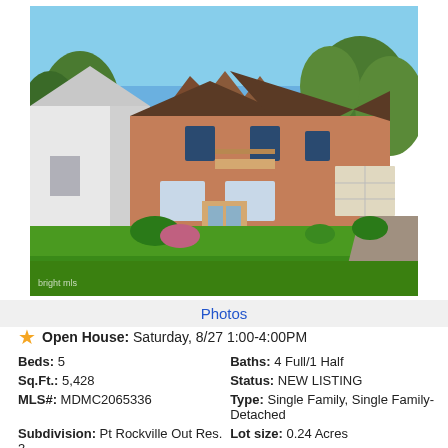[Figure (photo): Exterior photo of a two-story brick single family home with green lawn, trees, two-car garage, and blue sky. Watermark 'bright mls' in bottom left corner.]
Photos
Open House: Saturday, 8/27 1:00-4:00PM
| Beds: 5 | Baths: 4 Full/1 Half |
| Sq.Ft.: 5,428 | Status: NEW LISTING |
| MLS#: MDMC2065336 | Type: Single Family, Single Family-Detached |
| Subdivision: Pt Rockville Out Res. 3 | Lot size: 0.24 Acres Year built: 2001 |